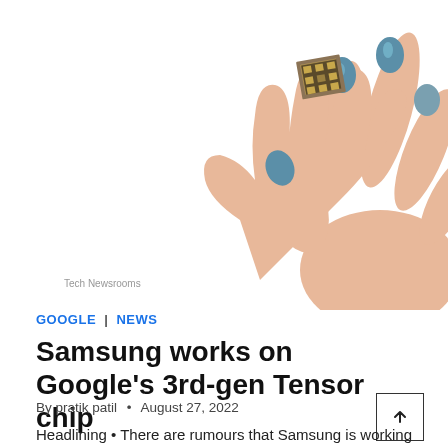[Figure (photo): A hand with teal/blue painted nails holding a small square microchip (Google Tensor chip) between thumb and fingers, white background. Watermark text 'Tech Newsrooms' visible in lower left area of photo.]
Tech Newsrooms
GOOGLE | NEWS
Samsung works on Google's 3rd-gen Tensor chip
By pratik patil • August 27, 2022
Headlining • There are rumours that Samsung is working on the third iteration of the Google Tensor